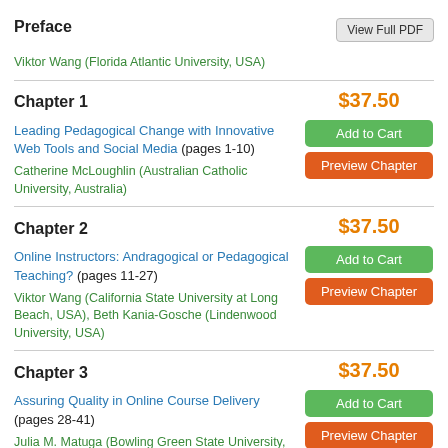Preface
Viktor Wang (Florida Atlantic University, USA)
Chapter 1
$37.50
Leading Pedagogical Change with Innovative Web Tools and Social Media (pages 1-10)
Catherine McLoughlin (Australian Catholic University, Australia)
Chapter 2
$37.50
Online Instructors: Andragogical or Pedagogical Teaching? (pages 11-27)
Viktor Wang (California State University at Long Beach, USA), Beth Kania-Gosche (Lindenwood University, USA)
Chapter 3
$37.50
Assuring Quality in Online Course Delivery (pages 28-41)
Julia M. Matuga (Bowling Green State University,